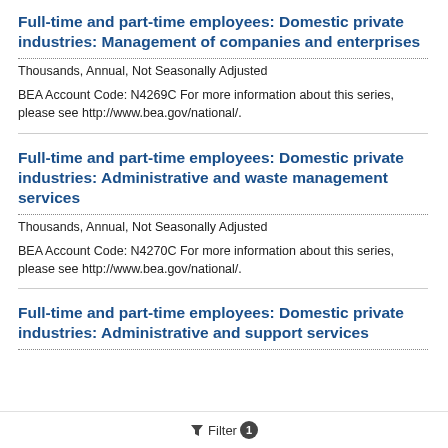Full-time and part-time employees: Domestic private industries: Management of companies and enterprises
Thousands, Annual, Not Seasonally Adjusted
BEA Account Code: N4269C For more information about this series, please see http://www.bea.gov/national/.
Full-time and part-time employees: Domestic private industries: Administrative and waste management services
Thousands, Annual, Not Seasonally Adjusted
BEA Account Code: N4270C For more information about this series, please see http://www.bea.gov/national/.
Full-time and part-time employees: Domestic private industries: Administrative and support services
Filter 1